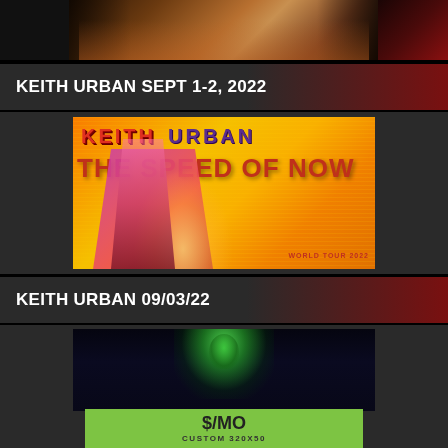[Figure (photo): Partial view of guitar and performer image at top of page]
KEITH URBAN SEPT 1-2, 2022
[Figure (photo): Keith Urban - The Speed of Now World Tour 2022 promotional poster showing performer playing guitar on orange/yellow background]
KEITH URBAN 09/03/22
[Figure (photo): Keith Urban concert photo with person lit in green/teal light on dark background]
[Figure (other): Advertisement banner: $/MO CUSTOM 320X50 on green background]